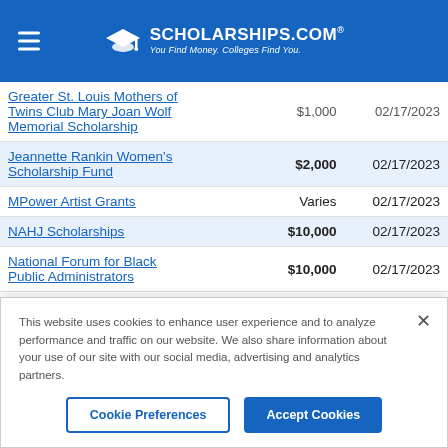SCHOLARSHIPS.COM® — You Find Money. Colleges Find You.
| Scholarship Name | Amount | Deadline |
| --- | --- | --- |
| Greater St. Louis Mothers of Twins Club Mary Joan Wolf Memorial Scholarship | $1,000 | 02/17/2023 |
| Jeannette Rankin Women's Scholarship Fund | $2,000 | 02/17/2023 |
| MPower Artist Grants | Varies | 02/17/2023 |
| NAHJ Scholarships | $10,000 | 02/17/2023 |
| National Forum for Black Public Administrators | $10,000 | 02/17/2023 |
This website uses cookies to enhance user experience and to analyze performance and traffic on our website. We also share information about your use of our site with our social media, advertising and analytics partners.